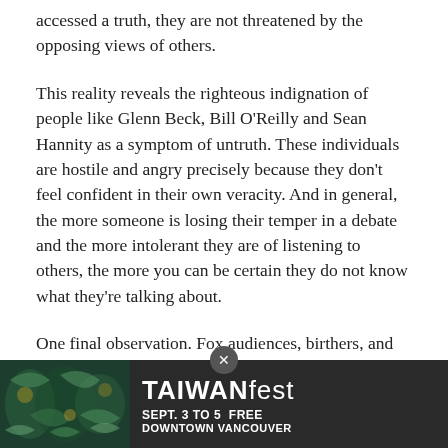accessed a truth, they are not threatened by the opposing views of others.
This reality reveals the righteous indignation of people like Glenn Beck, Bill O'Reilly and Sean Hannity as a symptom of untruth. These individuals are hostile and angry precisely because they don't feel confident in their own veracity. And in general, the more someone is losing their temper in a debate and the more intolerant they are of listening to others, the more you can be certain they do not know what they're talking about.
One final observation. Fox audiences, birthers, and Tea Partiers often defend their arguments by pointing to the fact that a lot of people share the same perceptions. This is a reasonable point to the extent that Rupert Murdoch's News Corporation reaches a far large audience than any other single
[Figure (other): Advertisement banner for TAIWANfest: 'SEPT. 3 TO 5 FREE DOWNTOWN VANCOUVER' with decorative imagery on the left side]